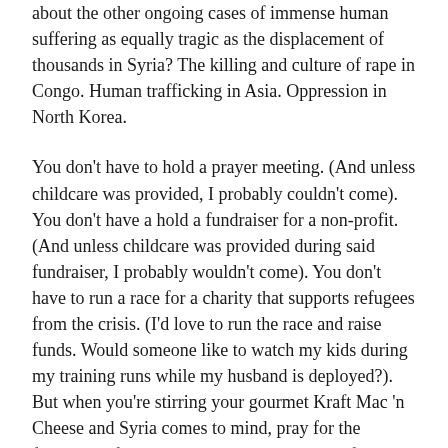about the other ongoing cases of immense human suffering as equally tragic as the displacement of thousands in Syria?  The killing and culture of rape in Congo.  Human trafficking in Asia.  Oppression in North Korea.
You don't have to hold a prayer meeting.  (And unless childcare was provided, I probably couldn't come).  You don't have a hold a fundraiser for a non-profit.  (And unless childcare was provided during said fundraiser, I probably wouldn't come).  You don't have to run a race for a charity that supports refugees from the crisis.  (I'd love to run the race and raise funds.  Would someone like to watch my kids during my training runs while my husband is deployed?).  But when you're stirring your gourmet Kraft Mac 'n Cheese and Syria comes to mind, pray for the followers of Jesus there, that they would be filled with His peace.  Pray for the moms in the refugee camps, that He would provide what they need to feed